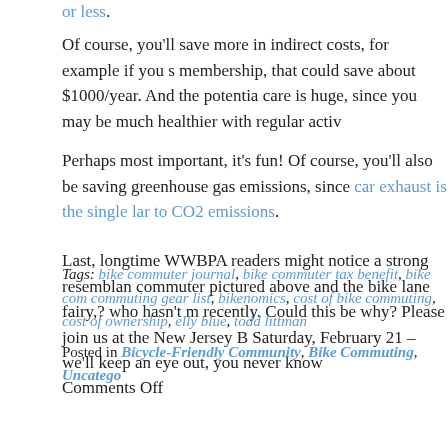or less.
Of course, you'll save more in indirect costs, for example if you s membership, that could save about $1000/year. And the potentia care is huge, since you may be much healthier with regular activ
Perhaps most important, it's fun! Of course, you'll also be saving greenhouse gas emissions, since car exhaust is the single lar to CO2 emissions.
Last, longtime WWBPA readers might notice a strong resemblan commuter pictured above and the bike lane fairy,? who hasn't m recently. Could this be why? Please join us at the New Jersey B Saturday, February 21 – we'll keep an eye out, you never know
Comments Off
Tags: bike commuter journal, bike commuter tax benefit, bike com commuting gear list, bikenomics, cost of bike commuting, cost of ownership, elly blue, todd littman
Posted in Bicycle-Friendly Community, Bike Commuting, Uncatego